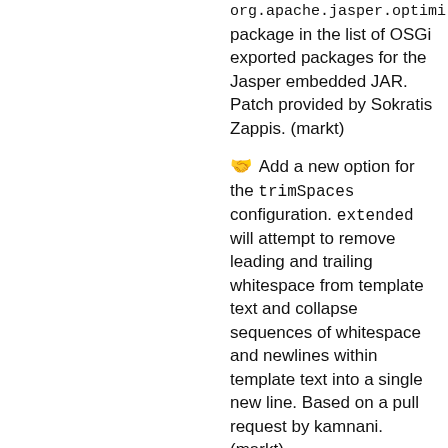org.apache.jasper.optimi package in the list of OSGi exported packages for the Jasper embedded JAR. Patch provided by Sokratis Zappis. (markt)
🤝 Add a new option for the trimSpaces configuration. extended will attempt to remove leading and trailing whitespace from template text and collapse sequences of whitespace and newlines within template text into a single new line. Based on a pull request by kamnani. (markt)
Other
🤝 Implement the first